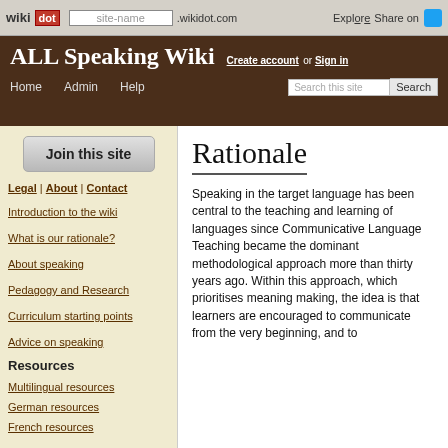[Figure (screenshot): Wikidot browser navigation bar with logo, address input showing 'site-name', '.wikidot.com', and 'Explore'/'Share on' with Twitter icon]
ALL Speaking Wiki — Create account or Sign in — Home Admin Help Search
Join this site
Legal | About | Contact
Introduction to the wiki
What is our rationale?
About speaking
Pedagogy and Research
Curriculum starting points
Advice on speaking
Resources
Multilingual resources
German resources
French resources
Rationale
Speaking in the target language has been central to the teaching and learning of languages since Communicative Language Teaching became the dominant methodological approach more than thirty years ago. Within this approach, which prioritises meaning making, the idea is that learners are encouraged to communicate from the very beginning, and to